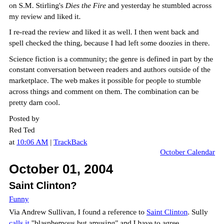on S.M. Stirling's Dies the Fire and yesterday he stumbled across my review and liked it.
I re-read the review and liked it as well. I then went back and spell checked the thing, because I had left some doozies in there.
Science fiction is a community; the genre is defined in part by the constant conversation between readers and authors outside of the marketplace. The web makes it possible for people to stumble across things and comment on them. The combination can be pretty darn cool.
Posted by
Red Ted
at 10:06 AM | TrackBack
October Calendar
October 01, 2004
Saint Clinton?
Funny
Via Andrew Sullivan, I found a reference to Saint Clinton. Sully calls it "blasphemous but amusing" and I have to agree.